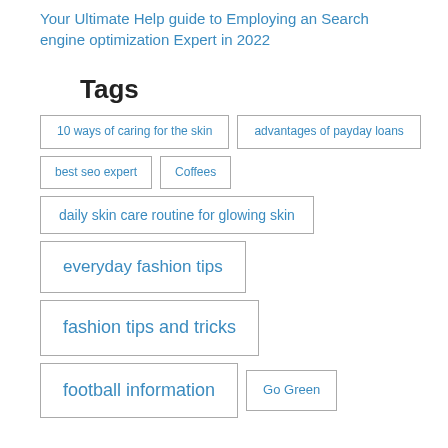Your Ultimate Help guide to Employing an Search engine optimization Expert in 2022
Tags
10 ways of caring for the skin
advantages of payday loans
best seo expert
Coffees
daily skin care routine for glowing skin
everyday fashion tips
fashion tips and tricks
football information
Go Green